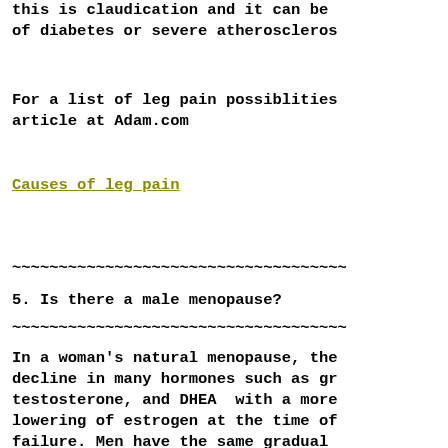this is claudication and it can be of diabetes or severe atherosclerosis
For a list of leg pain possiblities article at Adam.com
Causes of leg pain
~~~~~~~~~~~~~~~~~~~~~~~~~~~~~~~~~~~~~~~~~~~~~~~~
5. Is there a male menopause?
~~~~~~~~~~~~~~~~~~~~~~~~~~~~~~~~~~~~~~~~~~~~~~~~
In a woman's natural menopause, the decline in many hormones such as growth testosterone, and DHEA  with a more lowering of estrogen at the time of failure. Men have the same gradual all hormones without any abrupt change